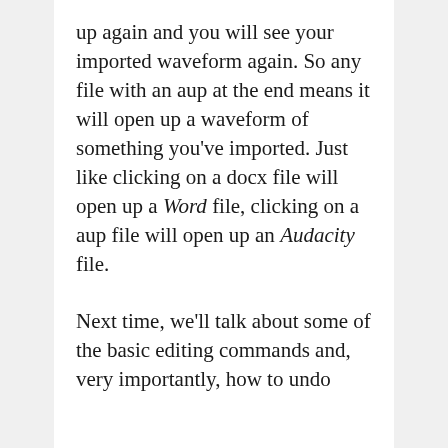up again and you will see your imported waveform again. So any file with an aup at the end means it will open up a waveform of something you've imported. Just like clicking on a docx file will open up a Word file, clicking on a aup file will open up an Audacity file.
Next time, we'll talk about some of the basic editing commands and, very importantly, how to undo